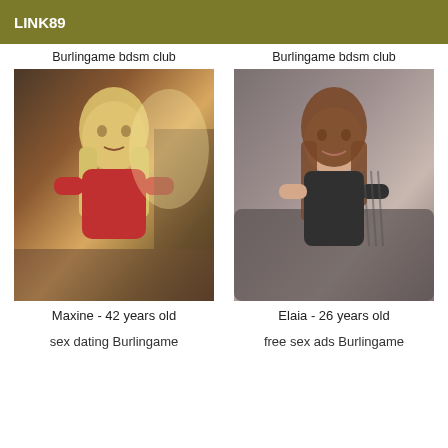LINK89
Burlingame bdsm club
[Figure (photo): Photo of Maxine, a woman with long blonde hair wearing a red shirt, seated indoors]
Maxine - 42 years old
sex dating Burlingame
Burlingame bdsm club
[Figure (photo): Photo of Elaia, a young woman with brown hair wearing a dark top, smiling]
Elaia - 26 years old
free sex ads Burlingame